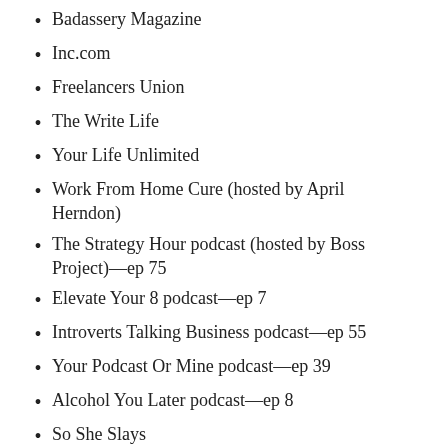Badassery Magazine
Inc.com
Freelancers Union
The Write Life
Your Life Unlimited
Work From Home Cure (hosted by April Herndon)
The Strategy Hour podcast (hosted by Boss Project)—ep 75
Elevate Your 8 podcast—ep 7
Introverts Talking Business podcast—ep 55
Your Podcast Or Mine podcast—ep 39
Alcohol You Later podcast—ep 8
So She Slays
The Ladders
...and more!